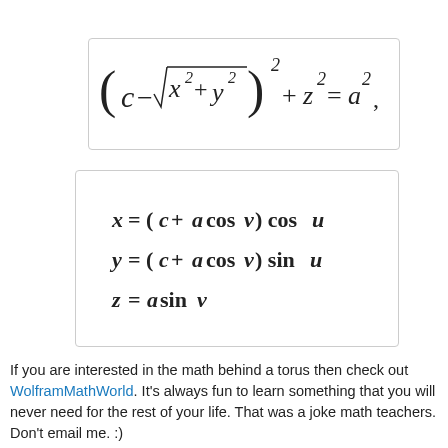If you are interested in the math behind a torus then check out WolframMathWorld. It's always fun to learn something that you will never need for the rest of your life. That was a joke math teachers. Don't email me. :)
[Figure (illustration): Ornamental divider with scrollwork design]
[Figure (other): Blue banner reading 'Four designs']